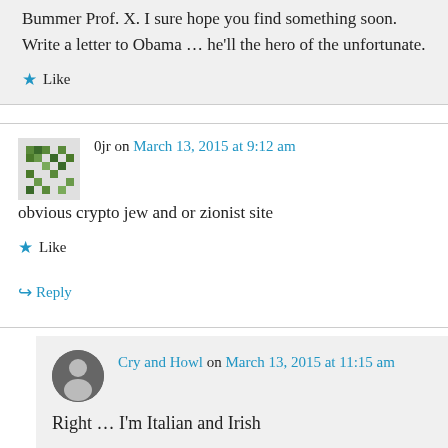Bummer Prof. X. I sure hope you find something soon. Write a letter to Obama … he'll the hero of the unfortunate.
Like
0jr on March 13, 2015 at 9:12 am
obvious crypto jew and or zionist site
Like
Reply
Cry and Howl on March 13, 2015 at 11:15 am
Right … I'm Italian and Irish